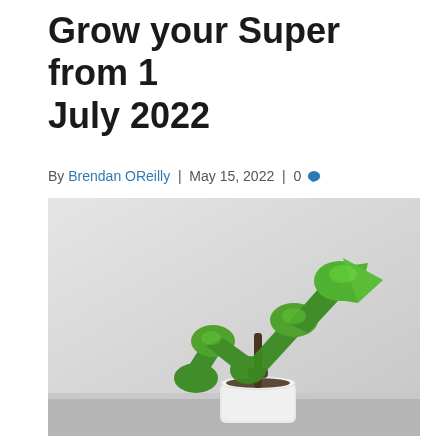Grow your Super from 1 July 2022
By Brendan OReilly | May 15, 2022 | 0
[Figure (photo): A small plant in a white pot, shaped and trimmed into the form of a rising stock market arrow chart – green foliage in an upward trending zigzag arrow shape against a grey background.]